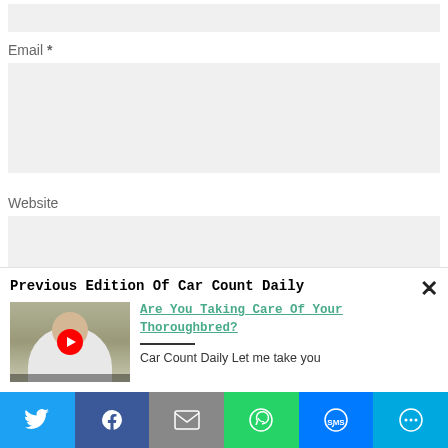Email *
Website
Previous Edition Of Car Count Daily
[Figure (screenshot): Thumbnail of a man in a white shirt, with a red YouTube play button overlay]
Are You Taking Care Of Your Thoroughbred?
Car Count Daily Let me take you
[Figure (infographic): Social share bar with Twitter, Facebook, Email, WhatsApp, SMS, and More buttons]